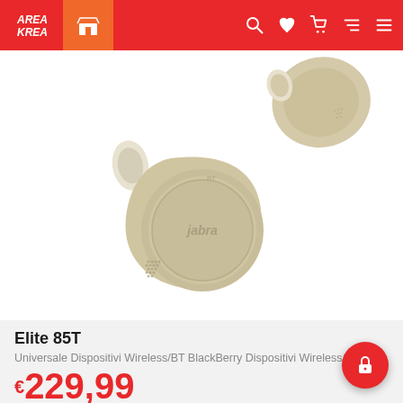AREA KREA — navigation bar with store, search, wishlist, cart, filter, menu icons
[Figure (photo): Jabra Elite 85T true wireless earbuds in gold/beige color, showing both earpieces, close-up product shot on white background]
Elite 85T
Universale Dispositivi Wireless/BT BlackBerry Dispositivi Wireless/...
€229,99
AL PUBBLICO